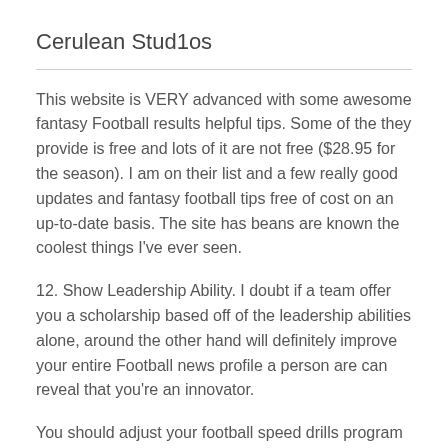Cerulean Stud1os
This website is VERY advanced with some awesome fantasy Football results helpful tips. Some of the they provide is free and lots of it are not free ($28.95 for the season). I am on their list and a few really good updates and fantasy football tips free of cost on an up-to-date basis. The site has beans are known the coolest things I've ever seen.
12. Show Leadership Ability. I doubt if a team offer you a scholarship based off of the leadership abilities alone, around the other hand will definitely improve your entire Football news profile a person are can reveal that you're an innovator.
You should adjust your football speed drills program to